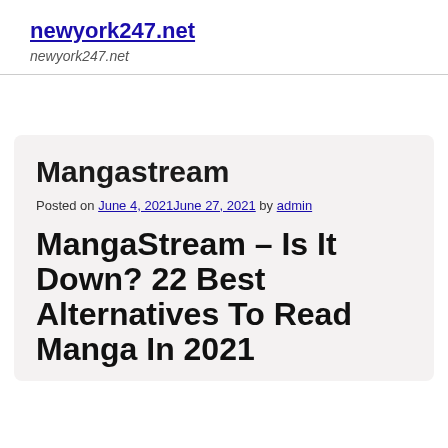newyork247.net
newyork247.net
Mangastream
Posted on June 4, 2021June 27, 2021 by admin
MangaStream – Is It Down? 22 Best Alternatives To Read Manga In 2021